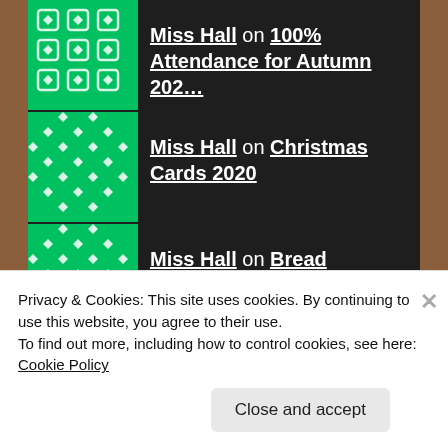Miss Hall on 100% Attendance for Autumn 202…
Miss Hall on Christmas Cards 2020
Miss Hall on Bread Experiment – Part…
Miss Hall on Maths Challenge from Miss Hall
Follow us on Twitter
Privacy & Cookies: This site uses cookies. By continuing to use this website, you agree to their use.
To find out more, including how to control cookies, see here: Cookie Policy
Close and accept